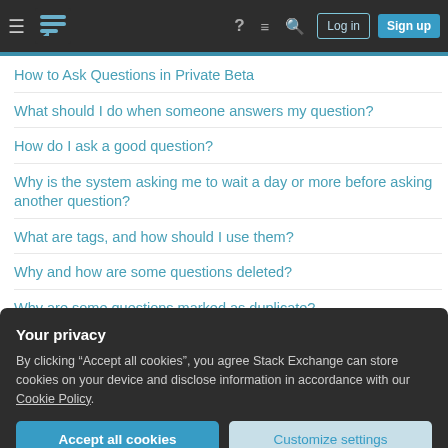Navigation bar with Stack Exchange logo, Log in and Sign up buttons
How to Ask Questions in Private Beta
What should I do when someone answers my question?
How do I ask a good question?
Why is the system asking me to wait a day or more before asking another question?
What are tags, and how should I use them?
Why and how are some questions deleted?
Why are some questions marked as duplicate?
What if I disagree with the closure of a question? How can I
Your privacy
By clicking "Accept all cookies", you agree Stack Exchange can store cookies on your device and disclose information in accordance with our Cookie Policy.
Accept all cookies   Customize settings
Our model